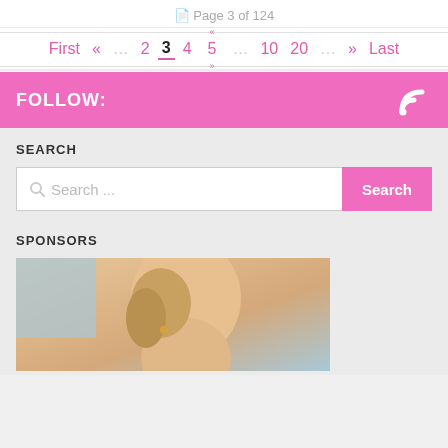Page 3 of 124
First « … 2 3 4 5 … 10 20 … » Last
FOLLOW:
SEARCH
Search ...
SPONSORS
[Figure (photo): A photo of a woman with blonde hair and earrings, head tilted back, blue background]